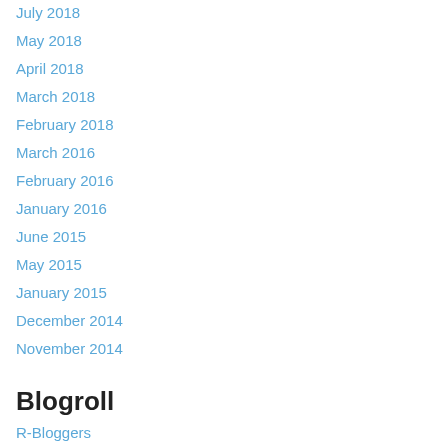July 2018
May 2018
April 2018
March 2018
February 2018
March 2016
February 2016
January 2016
June 2015
May 2015
January 2015
December 2014
November 2014
Blogroll
R-Bloggers